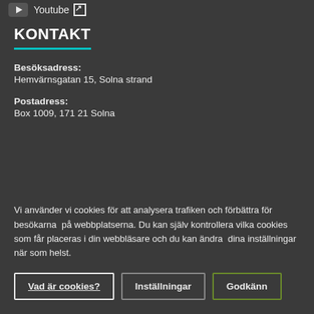Youtube
KONTAKT
Besöksadress:
Hemvärnsgatan 15, Solna strand
Postadress:
Box 1009, 171 21 Solna
Vi använder vi cookies för att analysera trafiken och förbättra för besökarna på webbplatserna. Du kan själv kontrollera vilka cookies som får placeras i din webbläsare och du kan ändra dina inställningar när som helst.
Vad är cookies?
Inställningar
Godkänn